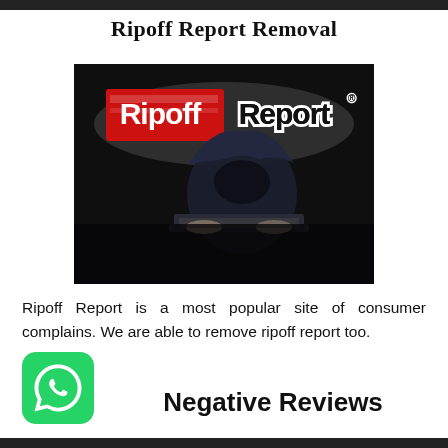Ripoff Report Removal
[Figure (photo): Ripoff Report logo in red and black text on a dark background with a hooded figure typing on a laptop in shadow]
Ripoff Report is a most popular site of consumer complains. We are able to remove ripoff report too.
[Figure (logo): WhatsApp green logo icon]
Negative Reviews